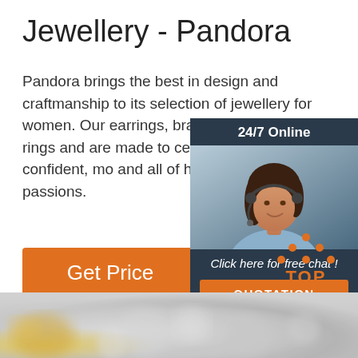Jewellery - Pandora
Pandora brings the best in design and craftmanship to its selection of jewellery for women. Our earrings, bracelets, necklaces, rings and are made to celebrate the confident, mo and all of her loves and passions.
[Figure (illustration): Orange button labeled 'Get Price']
[Figure (infographic): 24/7 Online chat widget with a woman wearing a headset, with 'Click here for free chat!' text and an orange QUOTATION button]
[Figure (logo): TOP logo with orange dots forming a house/triangle shape above the word TOP in orange]
[Figure (photo): Blurred close-up photo of jewellery items at the bottom of the page]